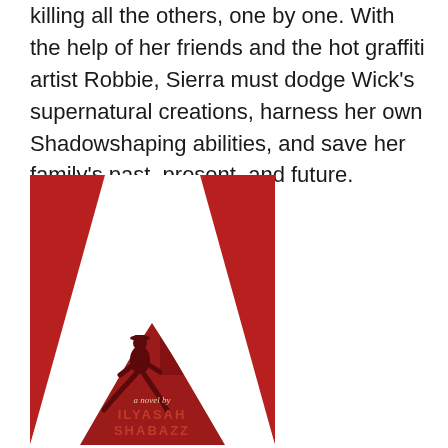killing all the others, one by one. With the help of her friends and the hot graffiti artist Robbie, Sierra must dodge Wick's supernatural creations, harness her own Shadowshaping abilities, and save her family's past, present, and future.
[Figure (illustration): Book cover of a novel by Ilyasah Shabazz. Red and white graphic design forming a large X shape. A silhouetted figure of a man in a hat and suit running is shown in the lower center white area. The background features a red city street scene. Text reads 'a novel by ILYASAH SHABAZZ' at the bottom center.]